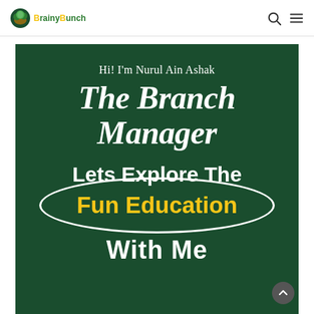BrainyBunch — navigation header with logo, search icon, and menu icon
[Figure (infographic): Dark green banner with text: 'Hi! I'm Nurul Ain Ashak', 'The Branch Manager', 'Lets Explore The', 'Fun Education' (in yellow with white oval outline), 'With Me']